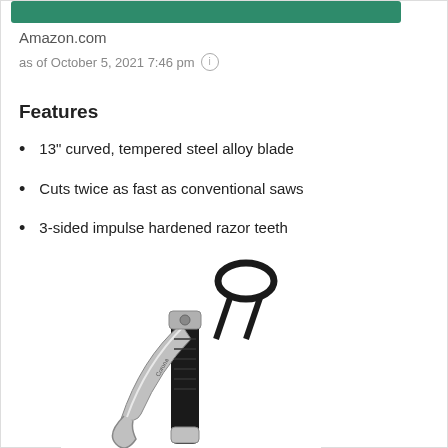[Figure (other): Green bar/button at top of page]
Amazon.com
as of October 5, 2021 7:46 pm ⓘ
Features
13" curved, tempered steel alloy blade
Cuts twice as fast as conventional saws
3-sided impulse hardened razor teeth
[Figure (photo): A folding pruning saw/tool with curved blade, black rope/paracord handle wrap, and metallic silver components]